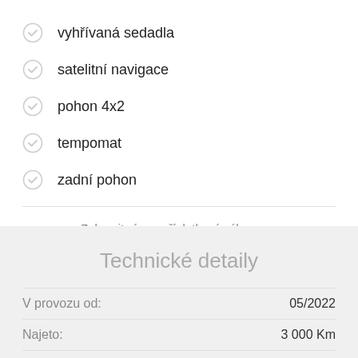vyhřívaná sedadla
satelitní navigace
pohon 4x2
tempomat
zadní pohon
Zobrazit více z příplatkové výbavy
Technické detaily
| Label | Value |
| --- | --- |
| V provozu od: | 05/2022 |
| Najeto: | 3 000 Km |
| Výkon: | 463 kW |